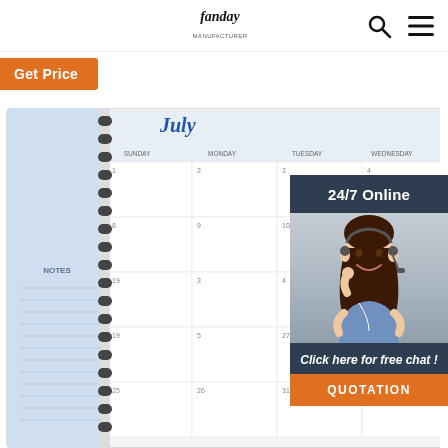Fanday [logo] | Search | Menu
Get Price
[Figure (photo): A spiral-bound monthly planner open to July, showing a notes column on the left and a weekly calendar grid with days of the week and numbered dates.]
[Figure (infographic): Chat widget sidebar: '24/7 Online' header on dark background, photo of smiling female customer service agent wearing headset, 'Click here for free chat!' call to action, and orange QUOTATION button.]